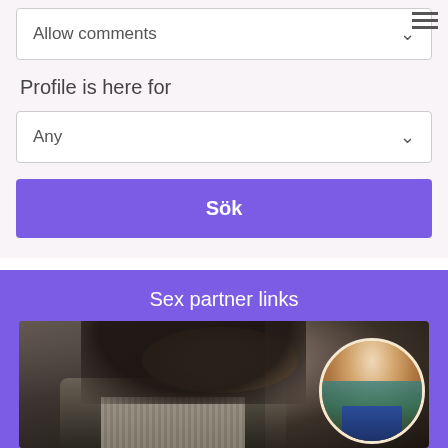Allow comments
Profile is here for
Any
Sök
Sex partner links
[Figure (photo): Photo of dark-haired woman in foreground with a circular inset photo of another woman in the bottom right]